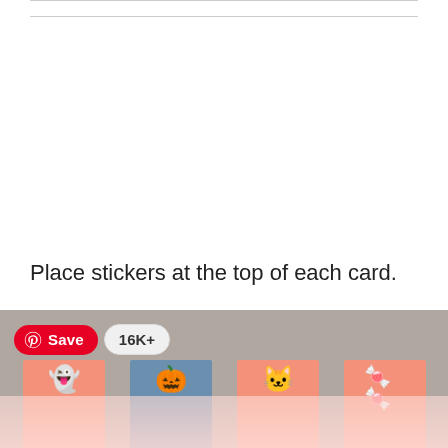Place stickers at the top of each card.
[Figure (photo): Photo of Halloween-themed cards laid on a grey surface, each card has a Halloween sticker at the top (ghost with purple bow, jack-o-lantern with witch hat, black cat, candy corn). A Pinterest Save button overlay shows '16K+' saves.]